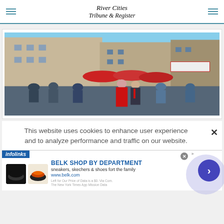River Cities Tribune & Register
[Figure (photo): Outdoor street parade scene with large crowd, red umbrella canopies, historic brick buildings, a woman in a red dress and a man in a suit with red tie walking together in the foreground]
This website uses cookies to enhance user experience and to analyze performance and traffic on our website.
[Figure (infographic): Advertisement: Belk Shop by Department - sneakers, skechers & shoes for the family. www.belk.com. Infolinks branding visible. Close button and navigation arrow present.]